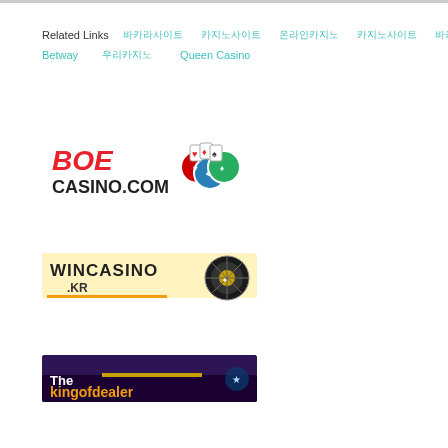Related Links | 바카라사이트 | 카지노사이트 | 온라인카지노 | 카지노사이트 | 바카라사이트 | Betway | 우리카지노 | Queen Casino
[Figure (logo): BOE Casino.com logo with playing card chips]
[Figure (logo): WinCasino.kr logo with roulette wheel]
[Figure (logo): Thekingofdealer banner logo]